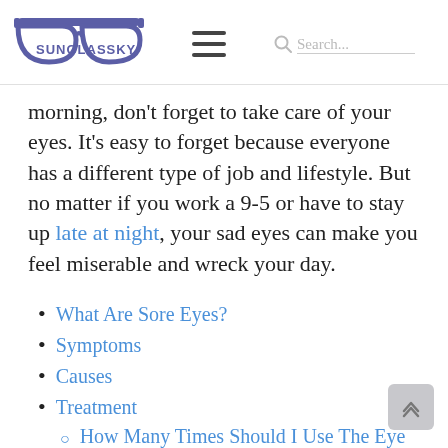SUNGLASSKY — navigation header with logo, hamburger menu, and search bar
morning, don't forget to take care of your eyes. It's easy to forget because everyone has a different type of job and lifestyle. But no matter if you work a 9-5 or have to stay up late at night, your sad eyes can make you feel miserable and wreck your day.
What Are Sore Eyes?
Symptoms
Causes
Treatment
How Many Times Should I Use The Eye